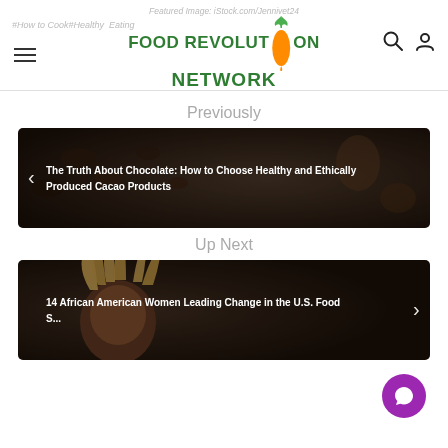Food Revolution Network — header with hamburger menu, logo, search and account icons
Featured Image: iStock.com/Jennivet24
#How to Cook#Healthy Eating
Previously
[Figure (photo): Dark background with cacao beans and chocolate pieces in wooden bowls and spoons. Article card for 'The Truth About Chocolate: How to Choose Healthy and Ethically Produced Cacao Products']
Up Next
[Figure (photo): Close-up of an African American woman with dreadlocks. Article card for '14 African American Women Leading Change in the U.S. Food System']